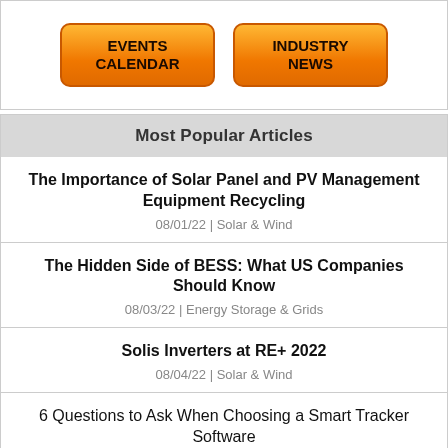[Figure (other): Two orange buttons labeled EVENTS CALENDAR and INDUSTRY NEWS]
Most Popular Articles
The Importance of Solar Panel and PV Management Equipment Recycling
08/01/22 | Solar & Wind
The Hidden Side of BESS: What US Companies Should Know
08/03/22 | Energy Storage & Grids
Solis Inverters at RE+ 2022
08/04/22 | Solar & Wind
6 Questions to Ask When Choosing a Smart Tracker Software